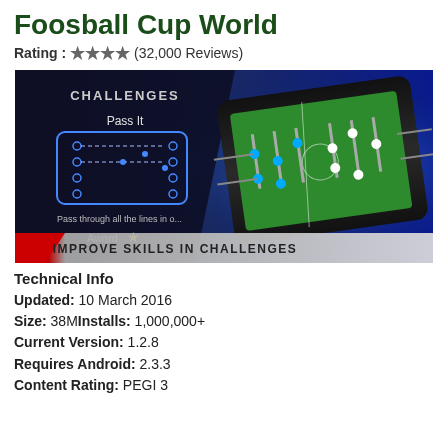Foosball Cup World
Rating : ★★★★ (32,000 Reviews)
[Figure (screenshot): Screenshot of Foosball Cup World game showing a foosball table game with 'CHALLENGES - Pass It' challenge screen and 'IMPROVE SKILLS IN CHALLENGES' banner at bottom]
Technical Info
Updated: 10 March 2016
Size: 38M  Installs: 1,000,000+
Current Version: 1.2.8
Requires Android: 2.3.3
Content Rating: PEGI 3